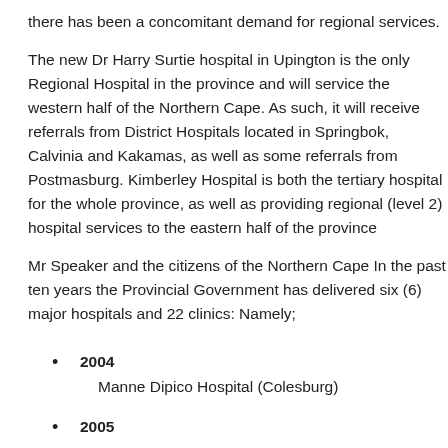there has been a concomitant demand for regional services.
The new Dr Harry Surtie hospital in Upington is the only Regional Hospital in the province and will service the western half of the Northern Cape. As such, it will receive referrals from District Hospitals located in Springbok, Calvinia and Kakamas, as well as some referrals from Postmasburg. Kimberley Hospital is both the tertiary hospital for the whole province, as well as providing regional (level 2) hospital services to the eastern half of the province
Mr Speaker and the citizens of the Northern Cape In the past ten years the Provincial Government has delivered six (6) major hospitals and 22 clinics: Namely;
2004
Manne Dipico Hospital (Colesburg)
2005